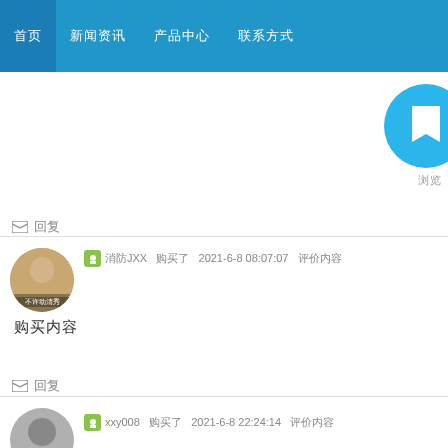首页  新闻资讯  产品中心  联系方式
[Figure (illustration): Blue circle button with white bookmark/flag icon in top right area]
浏览
✉ 回复
消防JXX 购买了 2021-6-8 08:07:07 评价内容
购买内容
✉ 回复
xxy008 购买了 2021-6-8 22:24:14 评价内容